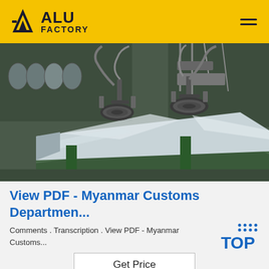ALU FACTORY
[Figure (photo): Industrial factory scene showing a large polished aluminum or metal sheet being handled by vacuum lifting equipment (suction cup mechanism) on a green industrial table/platform in a warehouse setting.]
View PDF - Myanmar Customs Departmen...
Comments . Transcription . View PDF - Myanmar Customs...
[Figure (logo): TOP logo in blue with dots pattern]
Get Price